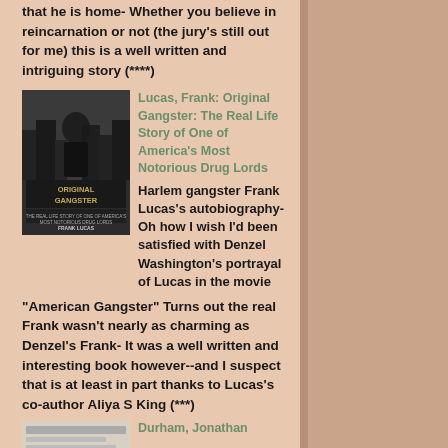that he is home- Whether you believe in reincarnation or not (the jury's still out for me) this is a well written and intriguing story (****)
[Figure (photo): Book cover of 'Original Gangster' by Frank Lucas]
Lucas, Frank: Original Gangster: The Real Life Story of One of America's Most Notorious Drug Lords
Harlem gangster Frank Lucas's autobiography- Oh how I wish I'd been satisfied with Denzel Washington's portrayal of Lucas in the movie "American Gangster" Turns out the real Frank wasn't nearly as charming as Denzel's Frank- It was a well written and interesting book however--and I suspect that is at least in part thanks to Lucas's co-author Aliya S King (***)
[Figure (photo): Book cover image (partially visible at bottom)]
Durham, Jonathan